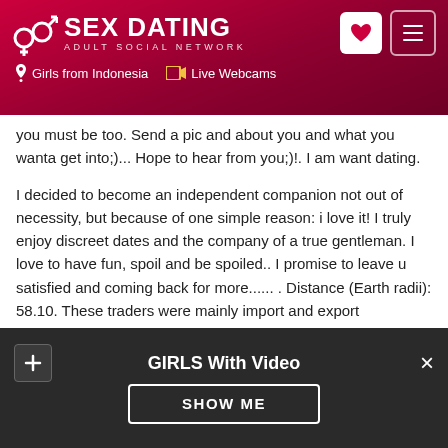[Figure (logo): SEX DATING Adult Social Network logo with gender symbols, heart icon button, and hamburger menu button on a dark red/crimson gradient background. Navigation links: Girls from Indonesia, Live Webcams.]
you must be too. Send a pic and about you and what you wanta get into;)... Hope to hear from you;)!. I am want dating.

I decided to become an independent companion not out of necessity, but because of one simple reason: i love it! I truly enjoy discreet dates and the company of a true gentleman. I love to have fun, spoil and be spoiled.. I promise to leave u satisfied and coming back for more...... . Distance (Earth radii): 58.10. These traders were mainly import and export merchants and required land with frontage along Victoria Harbour.
Hobbies/interests
GIRLS With Video
SHOW ME